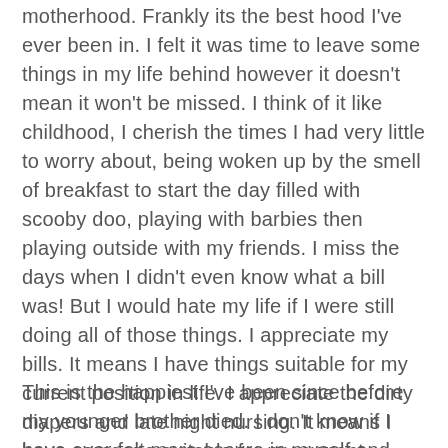motherhood. Frankly its the best hood I've ever been in. I felt it was time to leave some things in my life behind however it doesn't mean it won't be missed. I think of it like childhood, I cherish the times I had very little to worry about, being woken up by the smell of breakfast to start the day filled with scooby doo, playing with barbies then playing outside with my friends. I miss the days when I didn't even know what a bill was! But I would hate my life if I were still doing all of those things. I appreciate my bills. It means I have things suitable for my current position in life. I appreciate the dirty diapers and late night nursing. It means I have someone suitable for my current position in life.
This is the happiest I've been since before my younger brother died. I don't know if I have ever felt more secure in myself and